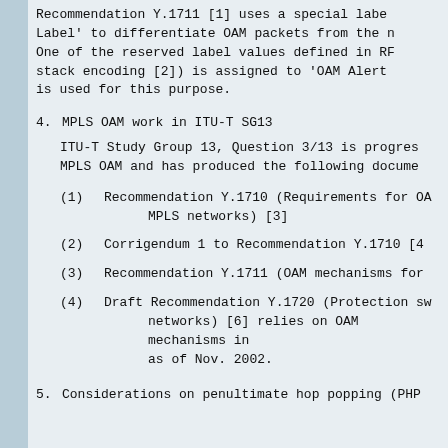Recommendation Y.1711 [1] uses a special label called 'OAM Alert Label' to differentiate OAM packets from the normal data packets. One of the reserved label values defined in RFC 3032 (MPLS label stack encoding [2]) is assigned to 'OAM Alert Label', and 13 is used for this purpose.
4. MPLS OAM work in ITU-T SG13
ITU-T Study Group 13, Question 3/13 is progressing work on MPLS OAM and has produced the following documents:
(1) Recommendation Y.1710 (Requirements for OAM in MPLS networks) [3]
(2) Corrigendum 1 to Recommendation Y.1710 [4]
(3) Recommendation Y.1711 (OAM mechanisms for MPLS networks)
(4) Draft Recommendation Y.1720 (Protection switching for MPLS networks) [6] relies on OAM mechanisms in Y.1711, and is approved as of Nov. 2002.
5. Considerations on penultimate hop popping (PHP)